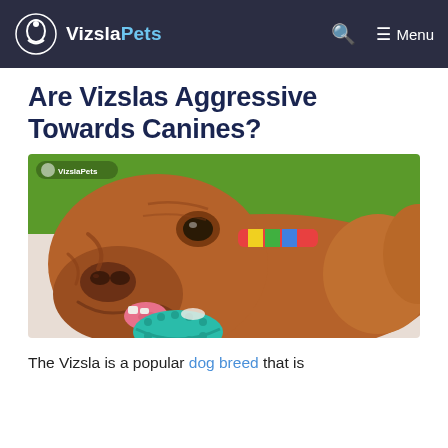VizslaPets — Menu
Are Vizslas Aggressive Towards Canines?
[Figure (photo): A Vizsla dog lying down and chewing on a teal rubber toy/chew. The dog has a golden-brown coat and is wearing a colorful collar. Background shows green grass.]
The Vizsla is a popular dog breed that is